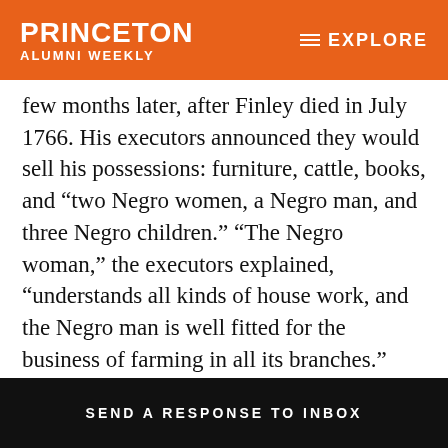PRINCETON ALUMNI WEEKLY | EXPLORE
few months later, after Finley died in July 1766. His executors announced they would sell his possessions: furniture, cattle, books, and “two Negro women, a Negro man, and three Negro children.” “The Negro woman,” the executors explained, “understands all kinds of house work, and the Negro man is well fitted for the business of farming in all its branches.” The slaves not sold beforehand would be auctioned off Aug. 19 at the President’s House,
SEND A RESPONSE TO INBOX